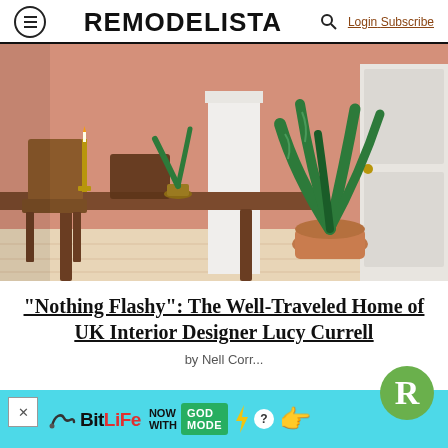REMODELISTA — Login  Subscribe
[Figure (photo): Interior dining room scene with salmon/terracotta pink walls, wooden dining table and chairs, brass candlestick, white pedestal column, large snake plant in terracotta pot, white paneled door visible on right]
“Nothing Flashy”: The Well-Traveled Home of UK Interior Designer Lucy Currell
by Nell Corr...
[Figure (infographic): BitLife advertisement banner — NOW WITH GOD MODE in teal background with yellow lightning bolt, question mark badge, pointing hand emoji]